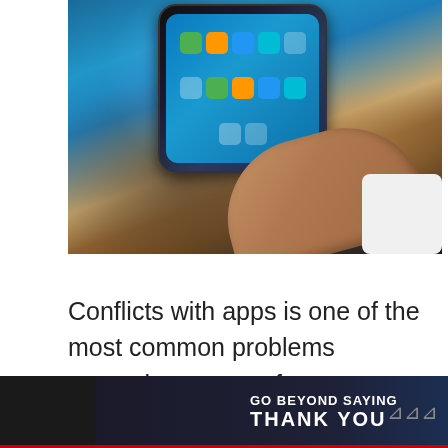[Figure (photo): Photo of a hand holding a Samsung Galaxy S6 smartphone showing the home screen with app icons, placed on a table surface]
Conflicts with apps is one of the most common problems smartphone users face nowadays. In this post, we show to you some samples of #GalaxyS6 app problems shared by some members of our community.
[Figure (photo): Advertisement banner: GO BEYOND SAYING THANK YOU - Operation Gratitude JOIN US]